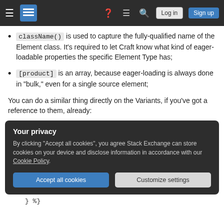Stack Exchange navigation bar with hamburger menu, logo, help, chat, search icons, Log in and Sign up buttons
className() is used to capture the fully-qualified name of the Element class. It's required to let Craft know what kind of eager-loadable properties the specific Element Type has;
[product] is an array, because eager-loading is always done in "bulk," even for a single source element;
You can do a similar thing directly on the Variants, if you've got a reference to them, already:
Your privacy
By clicking "Accept all cookies", you agree Stack Exchange can store cookies on your device and disclose information in accordance with our Cookie Policy.
Accept all cookies  Customize settings
} %}